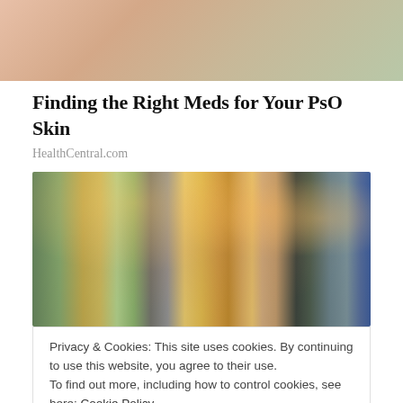[Figure (photo): Cropped top image showing fingers/hand against a light green and skin-toned background]
Finding the Right Meds for Your PsO Skin
HealthCentral.com
[Figure (photo): Woman with long dark hair in a plaid shirt browsing products in a grocery store aisle with colorful bokeh lights in the background]
Privacy & Cookies: This site uses cookies. By continuing to use this website, you agree to their use.
To find out more, including how to control cookies, see here: Cookie Policy
Close and accept
Finding Up Your Psoriasis Treatment Options
HealthCentral.com